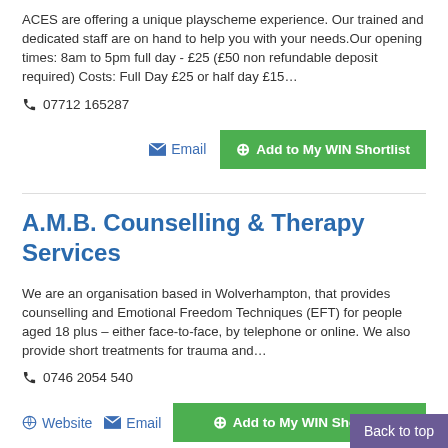ACES are offering a unique playscheme experience. Our trained and dedicated staff are on hand to help you with your needs.Our opening times: 8am to 5pm full day - £25 (£50 non refundable deposit required) Costs: Full Day £25 or half day £15…
☎ 07712 165287
✉ Email   ⊕ Add to My WIN Shortlist
A.M.B. Counselling & Therapy Services
We are an organisation based in Wolverhampton, that provides counselling and Emotional Freedom Techniques (EFT) for people aged 18 plus – either face-to-face, by telephone or online. We also provide short treatments for trauma and…
☎ 0746 2054 540
🌐 Website   ✉ Email   ⊕ Add to My WIN Shortlist
Back to top